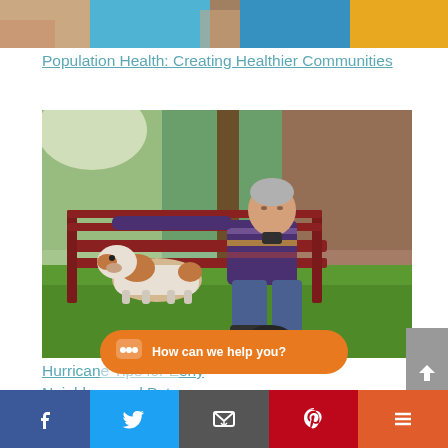[Figure (photo): Partial view of group of people — top strip of image showing colorful clothing]
Population Health: Creating Healthier Communities
[Figure (photo): Elderly man sitting on a red park bench with a dog (Jack Russell Terrier) resting beside him, surrounded by green grass and garden plants]
Hurrican... ...erly Neighbors and Pets